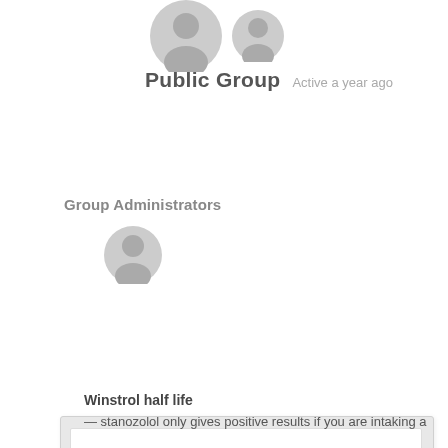[Figure (illustration): Two user avatar silhouettes side by side at top of page — gray placeholder profile icons]
Public Group   Active a year ago
Group Administrators
[Figure (illustration): Single user avatar silhouette — gray placeholder profile icon for group administrator]
CLICK HERE >>> Winstrol half life, winstrol results after 2 weeks – Legal steroids for sale
Winstrol half life
— stanozolol only gives positive results if you are intaking a